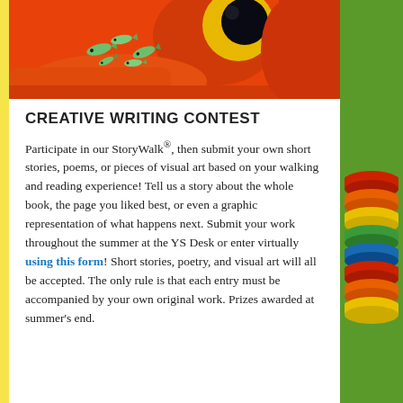[Figure (illustration): Close-up illustration of a large red/orange frog eye with small green fish swimming nearby on an orange background]
CREATIVE WRITING CONTEST
Participate in our StoryWalk®, then submit your own short stories, poems, or pieces of visual art based on your walking and reading experience! Tell us a story about the whole book, the page you liked best, or even a graphic representation of what happens next. Submit your work throughout the summer at the YS Desk or enter virtually using this form! Short stories, poetry, and visual art will all be accepted. The only rule is that each entry must be accompanied by your own original work. Prizes awarded at summer's end.